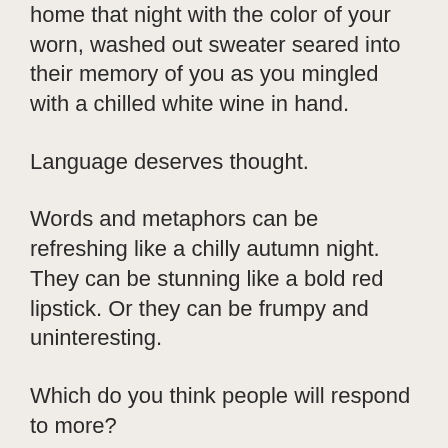home that night with the color of your worn, washed out sweater seared into their memory of you as you mingled with a chilled white wine in hand.
Language deserves thought.
Words and metaphors can be refreshing like a chilly autumn night. They can be stunning like a bold red lipstick. Or they can be frumpy and uninteresting.
Which do you think people will respond to more?